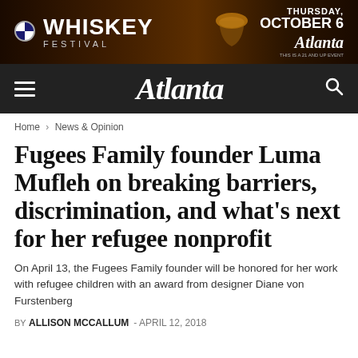[Figure (infographic): Advertisement banner for Whiskey Festival, Thursday October 6, Atlanta magazine. Dark warm background with whiskey glass image, BMW logo, white bold text.]
Atlanta
Home › News & Opinion
Fugees Family founder Luma Mufleh on breaking barriers, discrimination, and what's next for her refugee nonprofit
On April 13, the Fugees Family founder will be honored for her work with refugee children with an award from designer Diane von Furstenberg
BY ALLISON MCCALLUM - APRIL 12, 2018